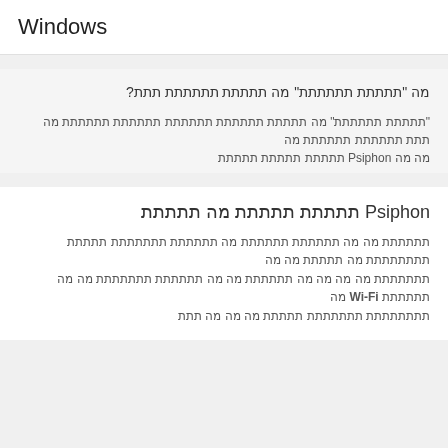Windows
מה "תוכניות תוכניות" מה תוכניות תוכניות תות?
"תוכניות תוכניות" מה תוכניות תוכניות תוכניות תוכניות תוכניות מה תות תוכניות תוכניות מה מה מה תPsiphon תוכניות תוכניות תוכניות
תPsiphon תוכניות תוכניות מה תוכניות
תוכניות מה מה תוכניות תוכניות מה תוכניות תוכניות תוכניות מה תוכניות מה מה תוכניות מה מה תוכניות מה מה תוכניות מה מה Wi-Fi מה תוכניות תוכניות תוכניות מה מה מה תות